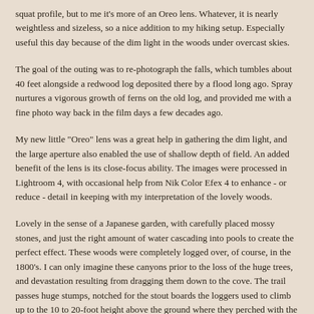squat profile, but to me it's more of an Oreo lens. Whatever, it is nearly weightless and sizeless, so a nice addition to my hiking setup. Especially useful this day because of the dim light in the woods under overcast skies.
The goal of the outing was to re-photograph the falls, which tumbles about 40 feet alongside a redwood log deposited there by a flood long ago. Spray nurtures a vigorous growth of ferns on the old log, and provided me with a fine photo way back in the film days a few decades ago.
My new little "Oreo" lens was a great help in gathering the dim light, and the large aperture also enabled the use of shallow depth of field. An added benefit of the lens is its close-focus ability. The images were processed in Lightroom 4, with occasional help from Nik Color Efex 4 to enhance - or reduce - detail in keeping with my interpretation of the lovely woods.
Lovely in the sense of a Japanese garden, with carefully placed mossy stones, and just the right amount of water cascading into pools to create the perfect effect. These woods were completely logged over, of course, in the 1800's. I can only imagine these canyons prior to the loss of the huge trees, and devastation resulting from dragging them down to the cove. The trail passes huge stumps, notched for the stout boards the loggers used to climb up to the 10 to 20-foot height above the ground where they perched with the huge 2-man saws to fell the trees. Vintage